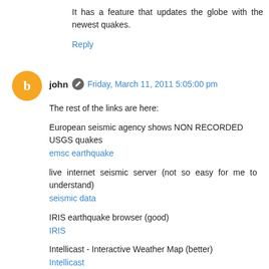It has a feature that updates the globe with the newest quakes.
Reply
john  Friday, March 11, 2011 5:05:00 pm
The rest of the links are here:
European seismic agency shows NON RECORDED USGS quakes
emsc earthquake
live internet seismic server (not so easy for me to understand)
seismic data
IRIS earthquake browser (good)
IRIS
Intellicast - Interactive Weather Map (better)
Intellicast